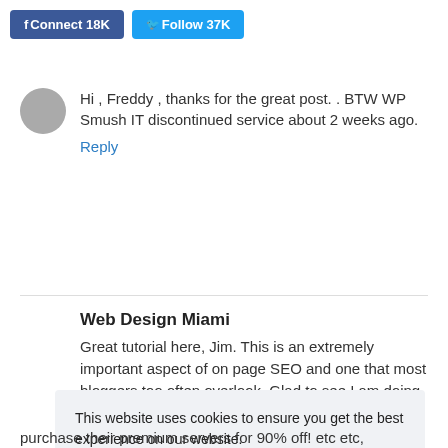[Figure (other): Facebook Connect 18K button and Twitter Follow 37K button]
Hi , Freddy , thanks for the great post. . BTW WP Smush IT discontinued service about 2 weeks ago.
Reply
Web Design Miami
Great tutorial here, Jim. This is an extremely important aspect of on page SEO and one that most bloggers too often overlook. Glad to see I am doing it right.
This website uses cookies to ensure you get the best experience on our website.
Read Privacy Policy
Got it!
purchase their premium servers for 90% off! etc etc,